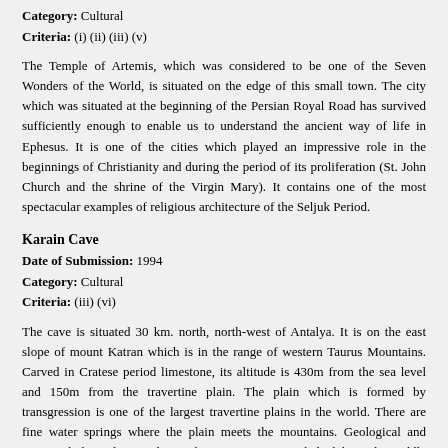Category: Cultural
Criteria: (i) (ii) (iii) (v)
The Temple of Artemis, which was considered to be one of the Seven Wonders of the World, is situated on the edge of this small town. The city which was situated at the beginning of the Persian Royal Road has survived sufficiently enough to enable us to understand the ancient way of life in Ephesus. It is one of the cities which played an impressive role in the beginnings of Christianity and during the period of its proliferation (St. John Church and the shrine of the Virgin Mary). It contains one of the most spectacular examples of religious architecture of the Seljuk Period.
Karain Cave
Date of Submission: 1994
Category: Cultural
Criteria: (iii) (vi)
The cave is situated 30 km. north, north-west of Antalya. It is on the east slope of mount Katran which is in the range of western Taurus Mountains. Carved in Cratese period limestone, its altitude is 430m from the sea level and 150m from the travertine plain. The plain which is formed by transgression is one of the largest travertine plains in the world. There are fine water springs where the plain meets the mountains. Geological and geomorphological researches in the recent years revealed a lake in the middle of the plain in Pleistocene; and many open air settlements in Paleolithic period. This is proved by the fossils of hippopotamus bones and shells of invertebrate found in the fauna of the Karain cave. The location of the cave is near the strait of Cubuk which is an important passage connecting the Mediterranean region with Inner Anatolia and